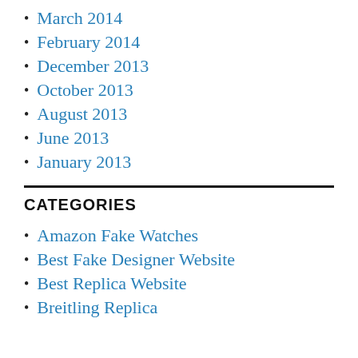March 2014
February 2014
December 2013
October 2013
August 2013
June 2013
January 2013
CATEGORIES
Amazon Fake Watches
Best Fake Designer Website
Best Replica Website
Breitling Replica